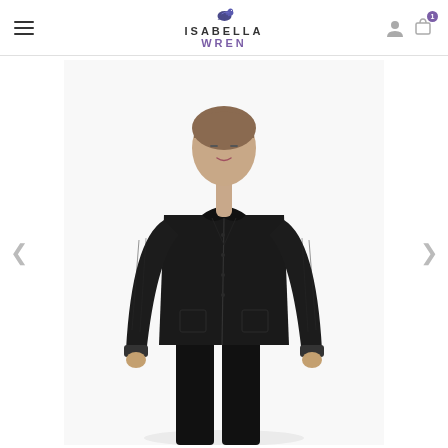Isabella Wren — navigation header with hamburger menu, logo, user icon, and shopping cart
[Figure (photo): Woman wearing a black button-up blouse with sheer sleeves and black trousers, photographed from the waist up against a white background. Product photo for Isabella Wren fashion brand.]